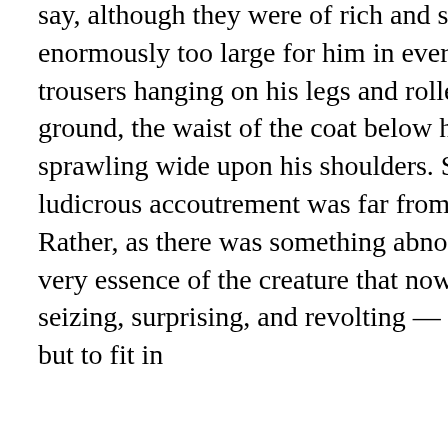say, although they were of rich and sober fabric, were enormously too large for him in every measurement — the trousers hanging on his legs and rolled up to keep them from the ground, the waist of the coat below his haunches, and the collar sprawling wide upon his shoulders. Strange to relate, this ludicrous accoutrement was far from moving me to laughter. Rather, as there was something abnormal and misbegotten in the very essence of the creature that now faced me — something seizing, surprising, and revolting — this fresh disparity seemed but to fit in